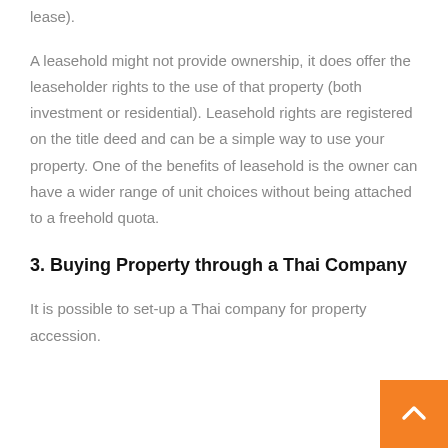lease).
A leasehold might not provide ownership, it does offer the leaseholder rights to the use of that property (both investment or residential). Leasehold rights are registered on the title deed and can be a simple way to use your property. One of the benefits of leasehold is the owner can have a wider range of unit choices without being attached to a freehold quota.
3. Buying Property through a Thai Company
It is possible to set-up a Thai company for property accession.